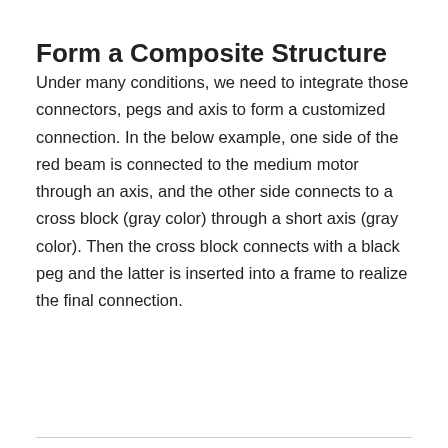Form a Composite Structure
Under many conditions, we need to integrate those connectors, pegs and axis to form a customized connection. In the below example, one side of the red beam is connected to the medium motor through an axis, and the other side connects to a cross block (gray color) through a short axis (gray color). Then the cross block connects with a black peg and the latter is inserted into a frame to realize the final connection.